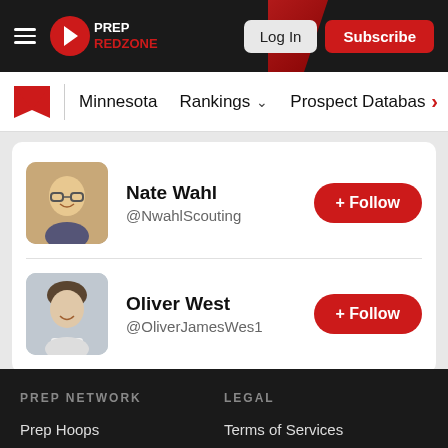Prep Redzone — Log In | Subscribe
Minnesota  Rankings  Prospect Database
Nate Wahl @NwahlScouting + Follow
Oliver West @OliverJamesWes1 + Follow
PREP NETWORK — Prep Hoops | LEGAL — Terms of Services